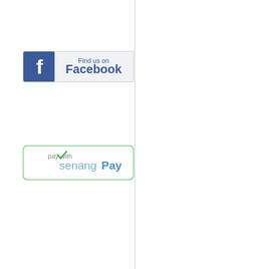[Figure (logo): Find us on Facebook badge with blue Facebook logo icon on the left and text 'Find us on Facebook' on a light grey background with border]
[Figure (logo): Pay with senangPay badge with green checkmark and blue/grey text on white background with green rounded border]